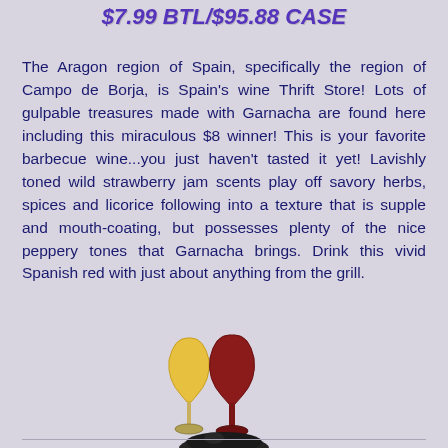$7.99 BTL/$95.88 CASE
The Aragon region of Spain, specifically the region of Campo de Borja, is Spain's wine Thrift Store! Lots of gulpable treasures made with Garnacha are found here including this miraculous $8 winner! This is your favorite barbecue wine...you just haven't tasted it yet! Lavishly toned wild strawberry jam scents play off savory herbs, spices and licorice following into a texture that is supple and mouth-coating, but possesses plenty of the nice peppery tones that Garnacha brings. Drink this vivid Spanish red with just about anything from the grill.
[Figure (illustration): Two wine glasses (one white/golden, one red) with a black spherical base and a 'Click to Order!' label in red italic text below the glasses]